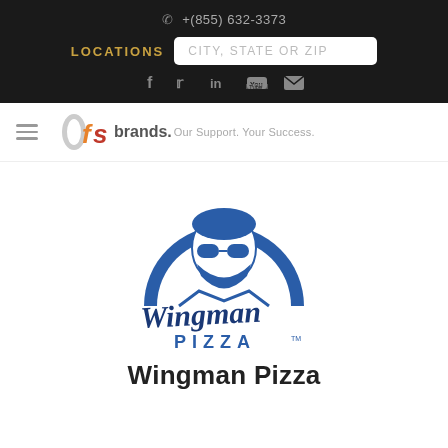+(855) 632-3373
LOCATIONS  CITY, STATE OR ZIP
[Figure (screenshot): Social media icons: Facebook, Twitter, LinkedIn, YouTube, Email]
[Figure (logo): PFS Brands logo with tagline: Our Support. Your Success.]
[Figure (logo): Wingman Pizza logo featuring a bearded man with aviator sunglasses inside a blue arc, with stylized script 'Wingman' and block letters 'PIZZA' below]
Wingman Pizza